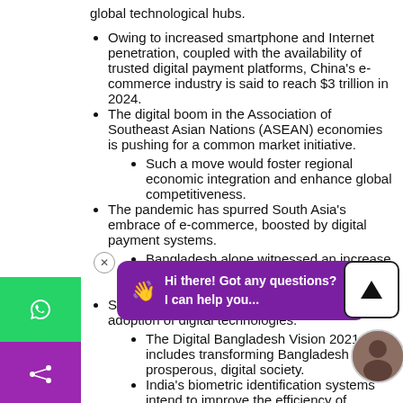Owing to increased smartphone and Internet penetration, coupled with the availability of trusted digital payment platforms, China's e-commerce industry is said to reach $3 trillion in 2024.
The digital boom in the Association of Southeast Asian Nations (ASEAN) economies is pushing for a common market initiative.
Such a move would foster regional economic integration and enhance global competitiveness.
The pandemic has spurred South Asia's embrace of e-commerce, boosted by digital payment systems.
Bangladesh alone witnessed an increase of 70-80% in online sales in 2020, generating $708.46 million in revenue.
South Asia has also noted a significant adoption of digital technologies.
The Digital Bangladesh Vision 2021 includes transforming Bangladesh into a prosperous, digital society.
India's biometric identification systems intend to improve the efficiency of welfare programmes.